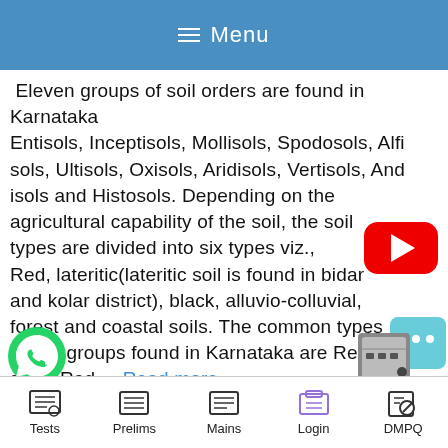≡ Menu
Eleven groups of soil orders are found in Karnataka Entisols, Inceptisols, Mollisols, Spodosols, Alfisols, Ultisols, Oxisols, Aridisols, Vertisols, Andisols and Histosols. Depending on the agricultural capability of the soil, the soil types are divided into six types viz., Red, lateritic(lateritic soil is found in bidar and kolar district), black, alluvio-colluvial, forest and coastal soils. The common types of soil groups found in Karnataka are Red soils: Red ... Read more
[Figure (logo): YouTube play button logo (red rounded rectangle with white triangle)]
[Figure (logo): WhatsApp green phone icon]
[Figure (logo): Chat bubble icon with ellipsis]
Tests  Prelims  Mains  Login  DMPQ